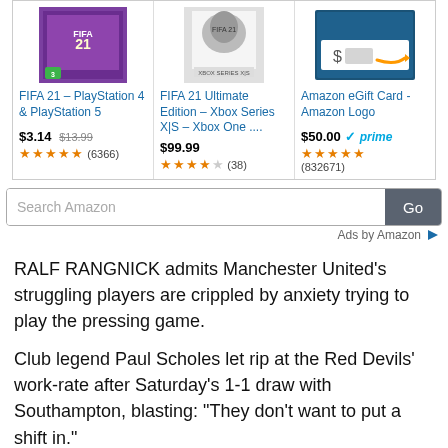[Figure (screenshot): Amazon product ad strip showing FIFA 21 PS4/PS5, FIFA 21 Ultimate Edition Xbox, and Amazon eGift Card]
FIFA 21 – PlayStation 4 & PlayStation 5
$3.14 $13.99 ★★★★★ (6366)
FIFA 21 Ultimate Edition – Xbox Series X|S – Xbox One ....
$99.99 ★★★★☆ (38)
Amazon eGift Card - Amazon Logo
$50.00 ✓prime ★★★★★ (832671)
[Figure (screenshot): Search Amazon input box with Go button]
Ads by Amazon ▷
RALF RANGNICK admits Manchester United's struggling players are crippled by anxiety trying to play the pressing game.
Club legend Paul Scholes let rip at the Red Devils' work-rate after Saturday's 1-1 draw with Southampton, blasting: "They don't want to put a shift in."